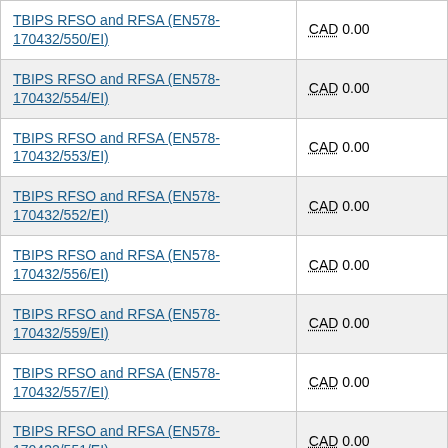| Contract | Value |
| --- | --- |
| TBIPS RFSO and RFSA (EN578-170432/550/EI) | CAD 0.00 |
| TBIPS RFSO and RFSA (EN578-170432/554/EI) | CAD 0.00 |
| TBIPS RFSO and RFSA (EN578-170432/553/EI) | CAD 0.00 |
| TBIPS RFSO and RFSA (EN578-170432/552/EI) | CAD 0.00 |
| TBIPS RFSO and RFSA (EN578-170432/556/EI) | CAD 0.00 |
| TBIPS RFSO and RFSA (EN578-170432/559/EI) | CAD 0.00 |
| TBIPS RFSO and RFSA (EN578-170432/557/EI) | CAD 0.00 |
| TBIPS RFSO and RFSA (EN578-170432/551/EI) | CAD 0.00 |
| TBIPS RFSO and RFSA (EN578-170432/542/EI) | CAD 0.00 |